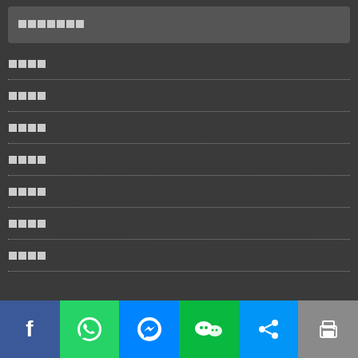█████████
████
████
████
████
████
████
████
[Figure (screenshot): Social media sharing bar with Facebook, WhatsApp, Messenger, WeChat, Share, and Print buttons]